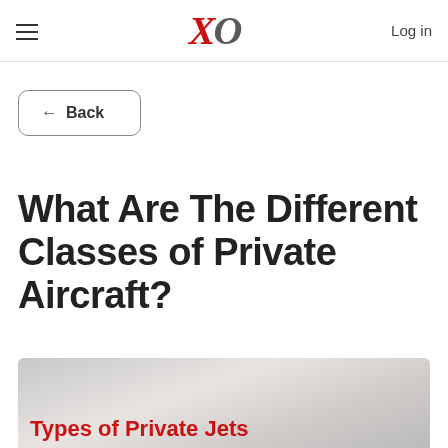XO — Log in
← Back
What Are The Different Classes of Private Aircraft?
[Figure (photo): Blurred cloud/sky background photo with red text overlay reading 'Types of Private Jets']